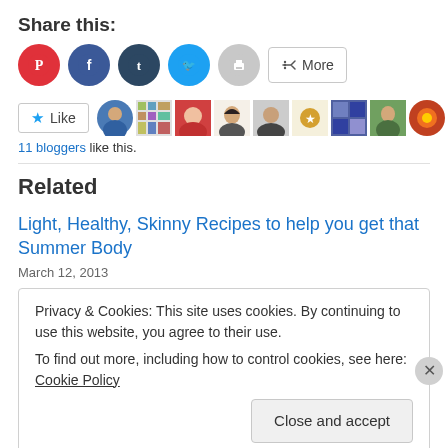Share this:
[Figure (infographic): Row of social share buttons: Pinterest (red circle), Facebook (blue circle), Tumblr (dark blue circle), Twitter (light blue circle), Print (grey circle), and a More button with share icon.]
[Figure (infographic): Like button with blue star icon, followed by a row of 11 user avatar circles/thumbnails.]
11 bloggers like this.
Related
Light, Healthy, Skinny Recipes to help you get that Summer Body
March 12, 2013
Privacy & Cookies: This site uses cookies. By continuing to use this website, you agree to their use.
To find out more, including how to control cookies, see here: Cookie Policy
Close and accept